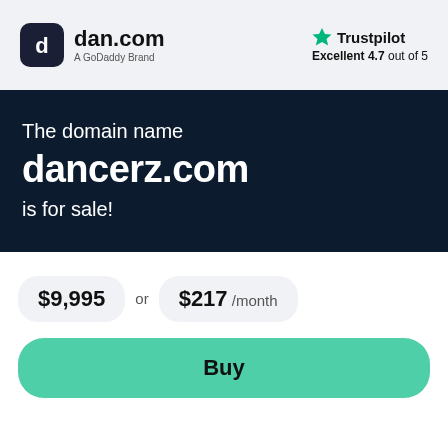[Figure (logo): dan.com logo with icon and 'A GoDoddy Brand' subtitle, plus Trustpilot rating 'Excellent 4.7 out of 5' with green star]
The domain name dancerz.com is for sale!
$9,995 or $217 /month
Buy